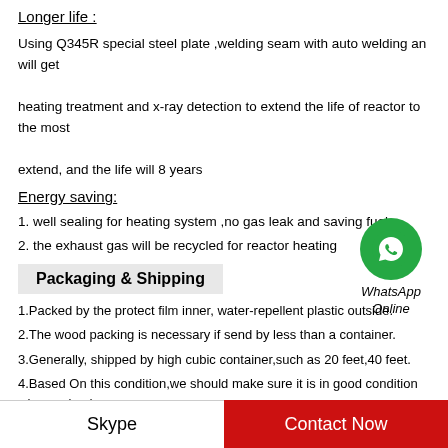Longer life :
Using Q345R special steel plate ,welding seam with auto welding an will get heating treatment and x-ray detection to extend the life of reactor to the most extend, and the life will 8 years
Energy saving:
1. well sealing for heating system ,no gas leak and saving fuel.
2. the exhaust gas will be recycled for reactor heating
[Figure (logo): WhatsApp Online logo with green circle phone icon and italic text 'WhatsApp Online']
Packaging & Shipping
1.Packed by the protect film inner, water-repellent plastic outside.
2.The wood packing is necessary if send by less than a container.
3.Generally, shipped by high cubic container,such as 20 feet,40 feet.
4.Based On this condition,we should make sure it is in good condition when arrived
Skype | Contact Now